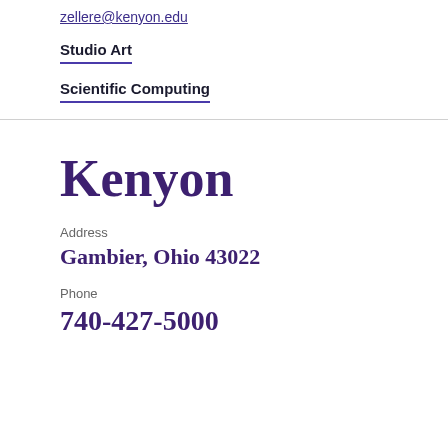zellere@kenyon.edu
Studio Art
Scientific Computing
Kenyon
Address
Gambier, Ohio 43022
Phone
740-427-5000